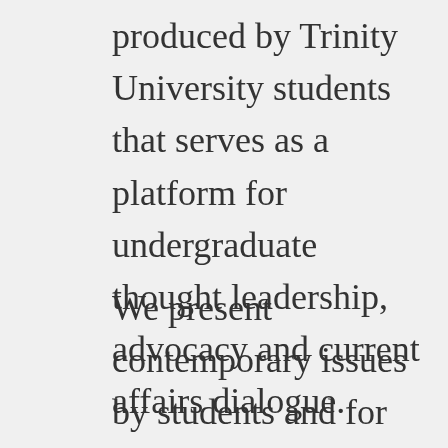produced by Trinity University students that serves as a platform for undergraduate thought leadership, advocacy and current affairs dialogue.
We present contemporary issues by students and for students in order to enhance understanding of complex